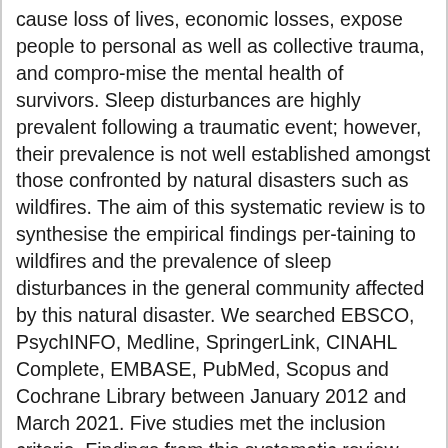cause loss of lives, economic losses, expose people to personal as well as collective trauma, and compro-mise the mental health of survivors. Sleep disturbances are highly prevalent following a traumatic event; however, their prevalence is not well established amongst those confronted by natural disasters such as wildfires. The aim of this systematic review is to synthesise the empirical findings per-taining to wildfires and the prevalence of sleep disturbances in the general community affected by this natural disaster. We searched EBSCO, PsychINFO, Medline, SpringerLink, CINAHL Complete, EMBASE, PubMed, Scopus and Cochrane Library between January 2012 and March 2021. Five studies met the inclusion criteria. Findings from this systematic review suggest that sleep disturbances, assessed one to ten months following the fires, are highly prevalent in wildfire survivors, with insomnia (ranging between 63–72.5%) and nightmares (ranging between 33.3–46.5%), being the most prevalent sleep disturbances reported in this cohort. Results also highlight the significant associa-tions between